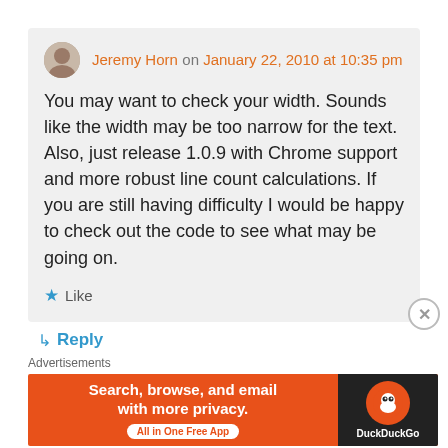Jeremy Horn on January 22, 2010 at 10:35 pm
You may want to check your width. Sounds like the width may be too narrow for the text. Also, just release 1.0.9 with Chrome support and more robust line count calculations. If you are still having difficulty I would be happy to check out the code to see what may be going on.
★ Like
↳ Reply
Advertisements
[Figure (infographic): DuckDuckGo advertisement banner: orange background with text 'Search, browse, and email with more privacy. All in One Free App' on the left, and DuckDuckGo logo on dark background on the right.]